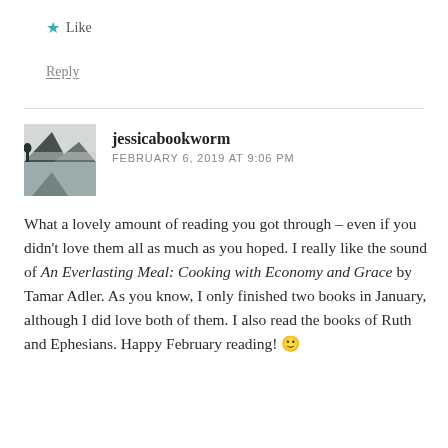★ Like
Reply
[Figure (photo): Black and white profile avatar photo showing a mountain lake landscape with misty hills in background]
jessicabookworm
FEBRUARY 6, 2019 AT 9:06 PM
What a lovely amount of reading you got through – even if you didn't love them all as much as you hoped. I really like the sound of An Everlasting Meal: Cooking with Economy and Grace by Tamar Adler. As you know, I only finished two books in January, although I did love both of them. I also read the books of Ruth and Ephesians. Happy February reading! 🙂